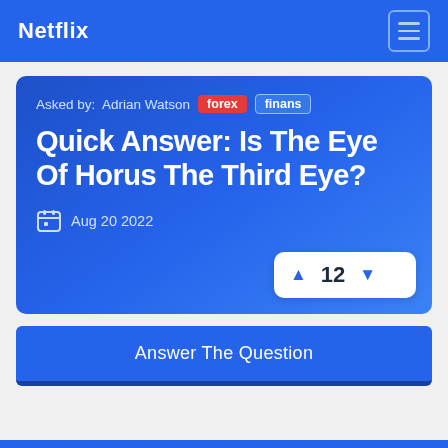Netflix
Asked by: Adrian Watson  forex  finans
Quick Answer: Is The Eye Of Horus The Third Eye?
Aug 20 2022
▲ 12 ▼
Answer The Question